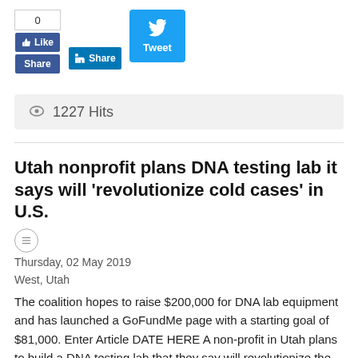[Figure (screenshot): Facebook Like and Share buttons with count 0, LinkedIn Share button, Twitter Tweet button]
1227 Hits
Utah nonprofit plans DNA testing lab it says will 'revolutionize cold cases' in U.S.
Thursday, 02 May 2019
West, Utah
The coalition hopes to raise $200,000 for DNA lab equipment and has launched a GoFundMe page with a starting goal of $81,000. Enter Article DATE HERE A non-profit in Utah plans to build a DNA testing lab that they say will revolutionize the handling of cold cases